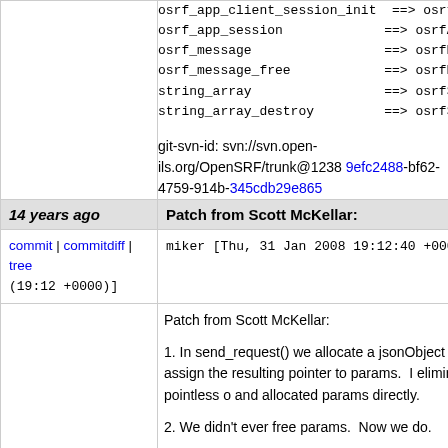osrf_app_client_session_init  ==> osrfAppSessionInit
osrf_app_session            ==> osrfAppSession
osrf_message                ==> osrfMessage
osrf_message_free           ==> osrfMessageFree
string_array                ==> osrfStringArray
string_array_destroy        ==> osrfStringArrayFree
git-svn-id: svn://svn.open-ils.org/OpenSRF/trunk@1238 9efc2488-bf62-4759-914b-345cdb29e865
14 years ago   Patch from Scott McKellar:
commit | commitdiff | tree
miker [Thu, 31 Jan 2008 19:12:40 +0000 (19:12 +0000)]
Patch from Scott McKellar:
1. In send_request() we allocate a jsonObject o and assign the resulting pointer to params. I eliminated the pointless o and allocated params directly.
2. We didn't ever free params. Now we do.
3. I replaced two deprecated identifiers with their camel case equivalents:
osrf_app_client_session_init  ==> osrfAppSessionInit